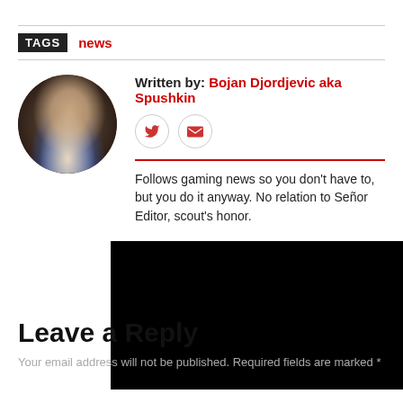TAGS  news
[Figure (photo): Author profile photo of Bojan Djordjevic aka Spushkin, circular cropped, man drinking from a cup]
Written by: Bojan Djordjevic aka Spushkin
Follows gaming news so you don't have to, but you do it anyway. No relation to Señor Editor, scout's honor.
[Figure (screenshot): Black overlay panel with X close button visible in top-left corner]
Leave a Reply
Your email address will not be published. Required fields are marked *